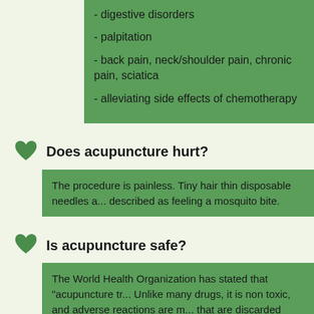- digestive disorders
- palpitation
- back pain, neck/shoulder pain, chronic pain, sciatica
- alleviating side effects of chemotherapy
Does acupuncture hurt?
The procedure is painless. Tiny hair thin disposable needles are described as feeling a mosquito bite.
Is acupuncture safe?
The World Health Organization has stated that "acupuncture treatment is safe". Unlike many drugs, it is non toxic, and adverse reactions are minimal. Sterile needles that are discarded after one use.
Is acupuncture covered under insurance?
Many insurance companies now do provide acupuncture coverage.